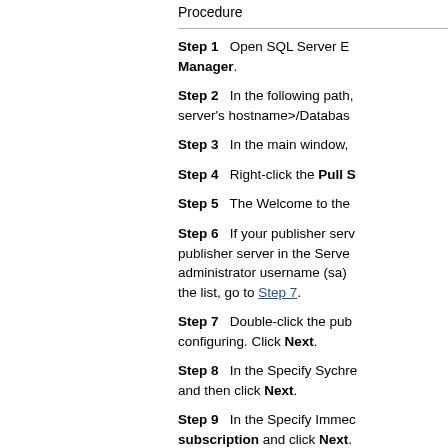Procedure
Step 1   Open SQL Server Enterprise Manager.
Step 2   In the following path, server's hostname>/Databases
Step 3   In the main window,
Step 4   Right-click the Pull S
Step 5   The Welcome to the
Step 6   If your publisher server in the Server administrator username (sa) the list, go to Step 7.
Step 7   Double-click the publisher configuring. Click Next.
Step 8   In the Specify Synchronization and then click Next.
Step 9   In the Specify Immediately subscription and click Next.
Step 10   In the Password administrator) user.
Step 11   In the Initialize Subscription